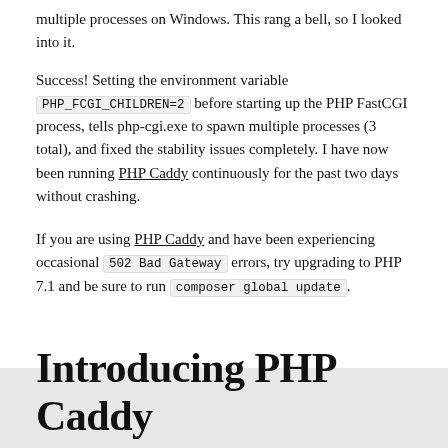multiple processes on Windows. This rang a bell, so I looked into it.
Success!  Setting the environment variable PHP_FCGI_CHILDREN=2 before starting up the PHP FastCGI process, tells php-cgi.exe to spawn multiple processes (3 total), and fixed the stability issues completely.  I have now been running PHP Caddy continuously for the past two days without crashing.
If you are using PHP Caddy and have been experiencing occasional 502 Bad Gateway errors, try upgrading to PHP 7.1 and be sure to run composer global update .
Introducing PHP Caddy